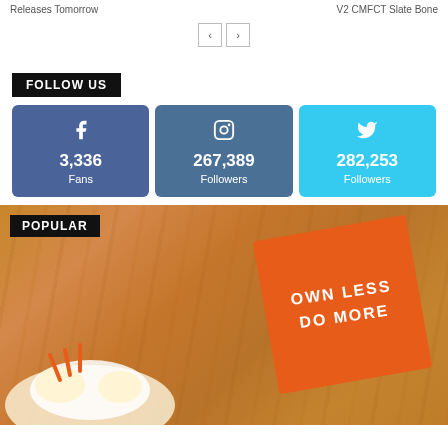Releases Tomorrow | V2 CMFCT Slate Bone
< >
FOLLOW US
[Figure (infographic): Three social media stat cards: Facebook 3,336 Fans (dark blue), Instagram 267,389 Followers (slate blue), Twitter 282,253 Followers (light blue)]
POPULAR
[Figure (photo): Orange box with text 'OWN LESS DO MORE' on a wooden background with cream puff/dessert in foreground]